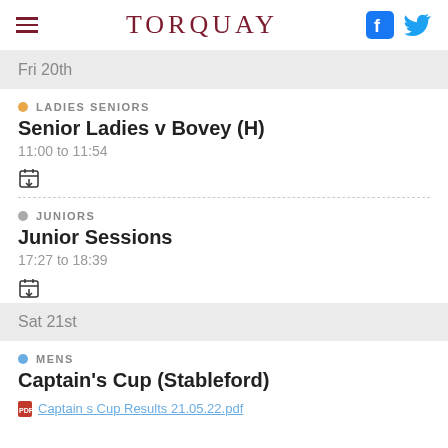TORQUAY
Fri 20th
LADIES SENIORS — Senior Ladies v Bovey (H) — 11:00 to 11:54
JUNIORS — Junior Sessions — 17:27 to 18:39
Sat 21st
MENS — Captain's Cup (Stableford)
Captain s Cup Results 21.05.22.pdf